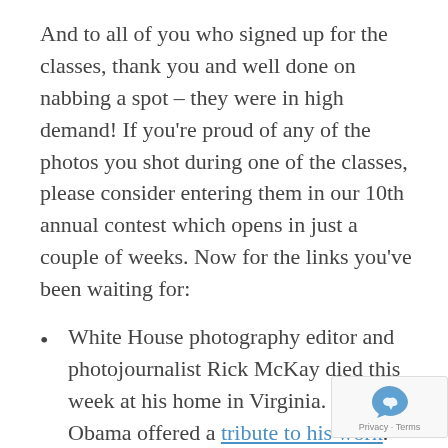And to all of you who signed up for the classes, thank you and well done on nabbing a spot – they were in high demand! If you're proud of any of the photos you shot during one of the classes, please consider entering them in our 10th annual contest which opens in just a couple of weeks. Now for the links you've been waiting for:
White House photography editor and photojournalist Rick McKay died this week at his home in Virginia. President Obama offered a tribute to his work.
Regular Flickr contributor Tony Quinn's photographs from 1983 bear witness to Team America – D.C.'s short-lived, oft-forgotten soccer club.